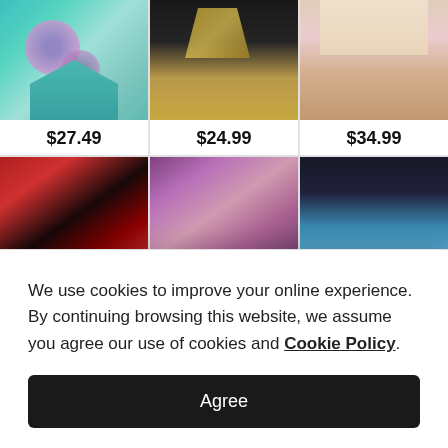[Figure (screenshot): E-commerce product grid showing 6 dress items in two rows of three. Top row shows: teal floral dress ($27.49), dark floral hi-lo skirt ($24.99), beige floral skirt ($34.99). Bottom row shows: red and black long-sleeve dress, purple multicolor maxi dress, black space-print dress with blue gradient hem.]
We use cookies to improve your online experience. By continuing browsing this website, we assume you agree our use of cookies and Cookie Policy.
Agree